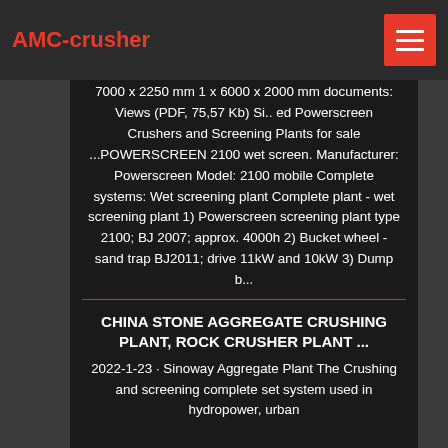AMC-crusher
7000 x 2250 mm 1 x 6000 x 2000 mm documents: Views (PDF, 75,57 Kb) Si.. ed Powerscreen Crushers and Screening Plants for sale ...POWERSCREEN 2100 wet screen. Manufacturer: Powerscreen Model: 2100 mobile Complete systems: Wet screening plant Complete plant - wet screening plant 1) Powerscreen screening plant type 2100; BJ 2007; approx. 4000h 2) Bucket wheel - sand trap BJ2011; drive 11kW and 10kW 3) Dump b...
CHINA STONE AGGREGATE CRUSHING PLANT, ROCK CRUSHER PLANT ...
2022-1-23 · Sinoway Aggregate Plant The Crushing and screening complete set system used in hydropower, urban